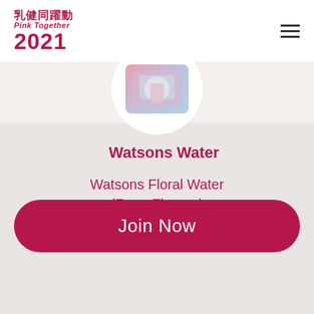乳健同躍動 Pink Together 2021
[Figure (photo): Circular product image showing a Watsons Floral Water bottle, partially cropped at top of content area]
Watsons Water
Watsons Floral Water (Rose Flavour)
Join Now